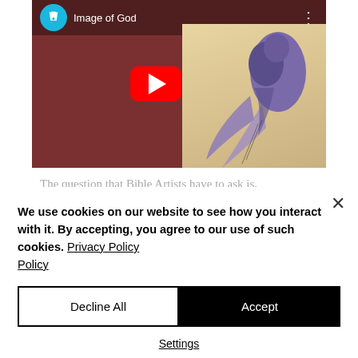[Figure (screenshot): YouTube video thumbnail showing 'Image of God' title with a YouTube play button overlay. Background shows a brownish-red color with an illustrated winged figure on the right side. Top bar has a teal circular icon and the video title.]
The question that Bible Artists have to ask is, "How do I convey any of this rich significance in a way that isn't boring?" Do you just have
We use cookies on our website to see how you interact with it. By accepting, you agree to our use of such cookies. Privacy Policy
Decline All
Accept
Settings